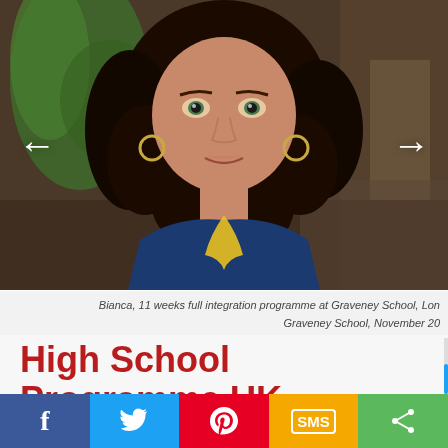[Figure (photo): A young female student with curly dark hair, green eyes, wearing a blue top with yellow lanyard, photographed at Graveney School, London. Navigation arrows on left and right sides of the image.]
Bianca, 11 weeks full integration programme at Graveney School, Lon Graveney School, November 20
High School Programme UK
See all our international students during their school exchange programme UK and our High School Programme schools photos.